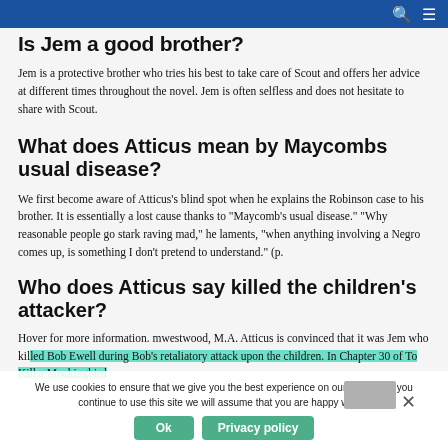Is Jem a good brother?
Jem is a protective brother who tries his best to take care of Scout and offers her advice at different times throughout the novel. Jem is often selfless and does not hesitate to share with Scout.
What does Atticus mean by Maycombs usual disease?
We first become aware of Atticus's blind spot when he explains the Robinson case to his brother. It is essentially a lost cause thanks to "Maycomb's usual disease." "Why reasonable people go stark raving mad," he laments, "when anything involving a Negro comes up, is something I don't pretend to understand." (p.
Who does Atticus say killed the children's attacker?
Hover for more information. mwestwood, M.A. Atticus is convinced that it was Jem who killed Bob Ewell during Bob's retaliatory attack upon the children. In Chapter 30 of To Kill a Mockingbird
We use cookies to ensure that we give you the best experience on our website. If you continue to use this site we will assume that you are happy with it.